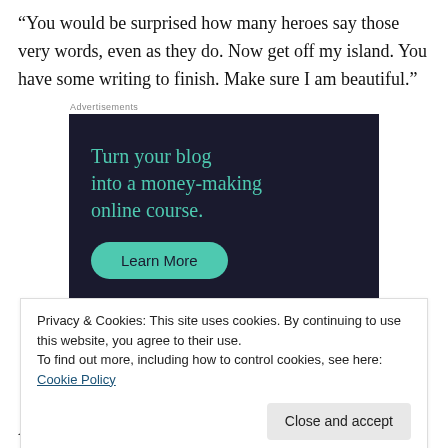“You would be surprised how many heroes say those very words, even as they do. Now get off my island. You have some writing to finish. Make sure I am beautiful.”
[Figure (screenshot): Advertisement banner with dark navy background. Large teal text reads 'Turn your blog into a money-making online course.' with a teal rounded button labeled 'Learn More'.]
Privacy & Cookies: This site uses cookies. By continuing to use this website, you agree to their use.
To find out more, including how to control cookies, see here: Cookie Policy
And Death was beautiful to me, once, for about seven